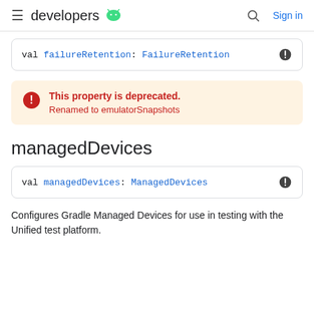developers
val failureRetention: FailureRetention
This property is deprecated.
Renamed to emulatorSnapshots
managedDevices
val managedDevices: ManagedDevices
Configures Gradle Managed Devices for use in testing with the Unified test platform.